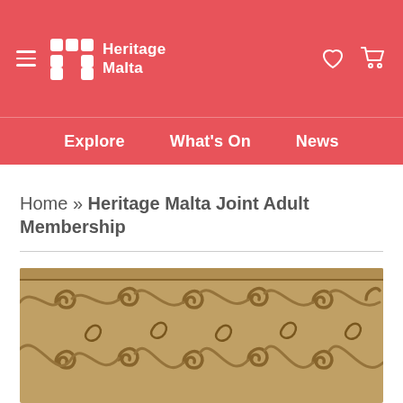Heritage Malta — Navigation header with logo, hamburger menu, wishlist and cart icons
Explore   What's On   News
Home » Heritage Malta Joint Adult Membership
[Figure (photo): Close-up photograph of an ancient carved limestone relief with interlocking spiral and scroll decorative patterns, typical of Maltese prehistoric temple art.]